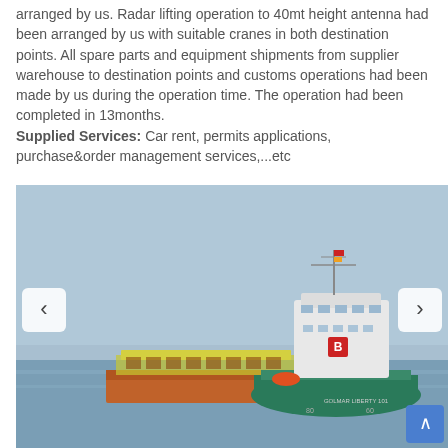arranged by us. Radar lifting operation to 40mt height antenna had been arranged by us with suitable cranes in both destination points. All spare parts and equipment shipments from supplier warehouse to destination points and customs operations had been made by us during the operation time. The operation had been completed in 13months. Supplied Services: Car rent, permits applications, purchase&order management services,...etc
[Figure (photo): A supply vessel / offshore support ship with a green hull and white superstructure, towing or alongside a large flat barge/raft structure in open sea under a clear blue sky. Navigation arrows (< >) visible on left and right sides of the image.]